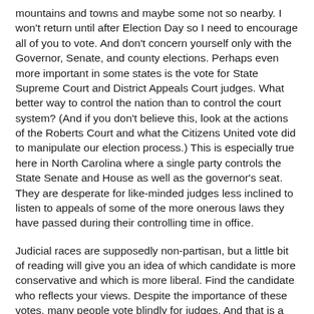mountains and towns and maybe some not so nearby.  I won't return until after Election Day so I need to encourage all of you to vote.  And don't concern yourself only with the Governor, Senate, and county elections.  Perhaps even more important in some states is the vote for State Supreme Court and District Appeals Court judges.  What better way to control the nation than to control the court system?  (And if you don't believe this, look at the actions of the Roberts Court and what the Citizens United vote did to manipulate our election process.)  This is especially true here in North Carolina where a single party controls the State Senate and House as well as the governor's seat.  They are desperate for like-minded judges less inclined to listen to appeals of some of the more onerous laws they have passed during their controlling time in office.
Judicial races are supposedly non-partisan, but a little bit of reading will give you an idea of which candidate  is more conservative and which is more liberal.  Find the candidate who reflects your views.  Despite the importance of these votes, many people vote blindly for judges.  And that is a shame.  So do some research and don't just vote for